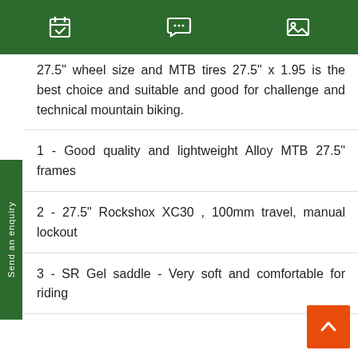[Navigation bar with calendar, chat, and image icons]
27.5" wheel size and MTB tires 27.5" x 1.95 is the best choice and suitable and good for challenge and technical mountain biking.
1 - Good quality and lightweight Alloy MTB 27.5" frames
2 - 27.5" Rockshox XC30 , 100mm travel, manual lockout
3 - SR Gel saddle - Very soft and comfortable for riding